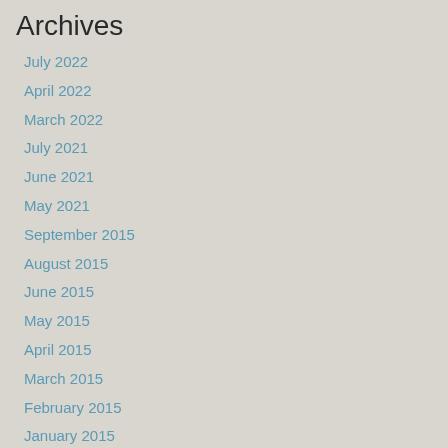Archives
July 2022
April 2022
March 2022
July 2021
June 2021
May 2021
September 2015
August 2015
June 2015
May 2015
April 2015
March 2015
February 2015
January 2015
May 2014
February 2014
January 2014
December 2013
November 2013
October 2013